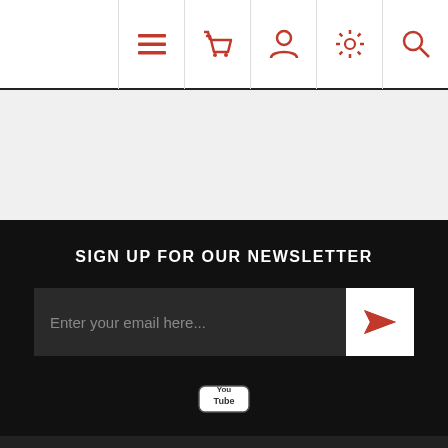Navigation bar with icons: menu, basket, user, settings, search
[Figure (screenshot): Gray empty content area]
SIGN UP FOR OUR NEWSLETTER
Enter your email here...
[Figure (logo): YouTube logo icon]
INFORMATION